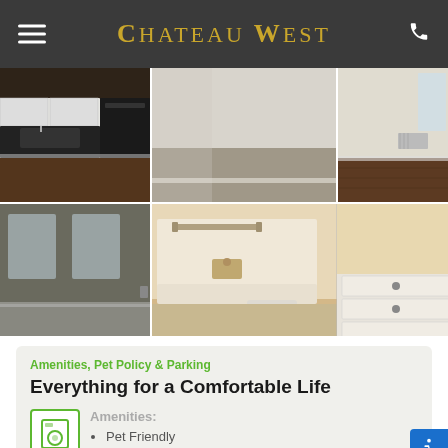Chateau West
[Figure (photo): Photo collage of apartment interior: kitchen with white cabinets, carpeted bedroom, empty room with wood floors, dark-painted living room with windows, bathroom with tub and toilet, and bathroom vanity with white drawers.]
Amenities, Pet Policy & Parking
Everything for a Comfortable Life
Amenities:
Pet Friendly